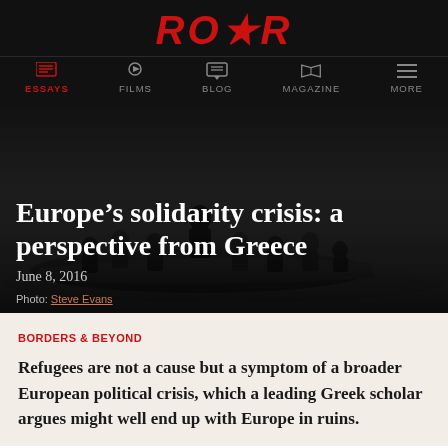ROAR
ESSAYS | FILMS | BLOG | MAGAZINE | MORE
[Figure (photo): Black and white photograph of refugees crowded on an inflatable boat at sea, viewed from slightly above.]
Europe’s solidarity crisis: a perspective from Greece
June 8, 2016
Photo: Steve Evans
BORDERS & BEYOND
Refugees are not a cause but a symptom of a broader European political crisis, which a leading Greek scholar argues might well end up with Europe in ruins.